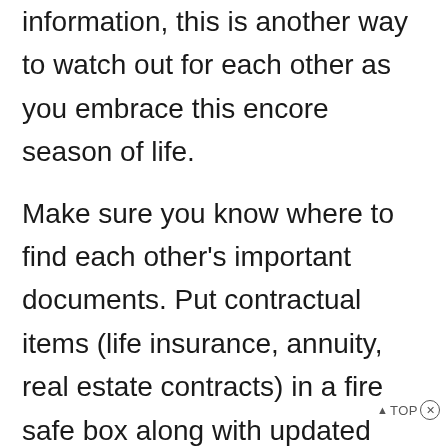information, this is another way to watch out for each other as you embrace this encore season of life.
Make sure you know where to find each other's important documents. Put contractual items (life insurance, annuity, real estate contracts) in a fire safe box along with updated lists of passwords and on-line account information and location.
Creatively, inquisitively, and non-judgmentally explore this season of life